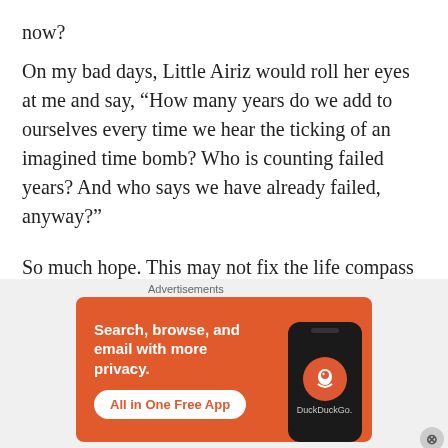now?
On my bad days, Little Airiz would roll her eyes at me and say, “How many years do we add to ourselves every time we hear the ticking of an imagined time bomb? Who is counting failed years? And who says we have already failed, anyway?”
So much hope. This may not fix the life compass that I sometimes believe have gone awry, but it helps refuel my hope tanks
[Figure (screenshot): DuckDuckGo advertisement banner: orange background with text 'Search, browse, and email with more privacy.' and button 'All in One Free App', with a phone graphic showing the DuckDuckGo logo]
Advertisements